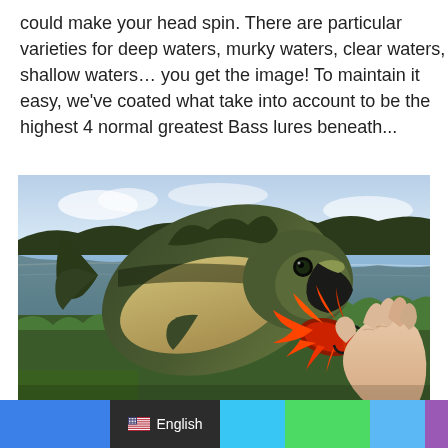could make your head spin. There are particular varieties for deep waters, murky waters, clear waters, shallow waters… you get the image! To maintain it easy, we've coated what take into account to be the highest 4 normal greatest Bass lures beneath...
[Figure (photo): A largemouth bass fish being held by a person's hand, with the fish biting a red/orange rubber lure (crawfish-style). Background shows a calm lake with trees reflected in the water and cloudy sky.]
English